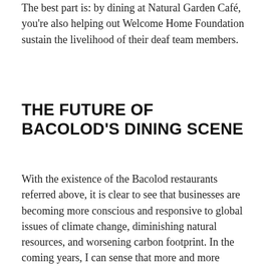The best part is: by dining at Natural Garden Café, you're also helping out Welcome Home Foundation sustain the livelihood of their deaf team members.
THE FUTURE OF BACOLOD'S DINING SCENE
With the existence of the Bacolod restaurants referred above, it is clear to see that businesses are becoming more conscious and responsive to global issues of climate change, diminishing natural resources, and worsening carbon footprint. In the coming years, I can sense that more and more establishments will adapt the initiatives taken by WAW Art Cafe, Wala Usik, and Natural Garden Café. With the help of the LGU, policies and support strategies must be created in order to help entrepreneurs adopt these initiatives...